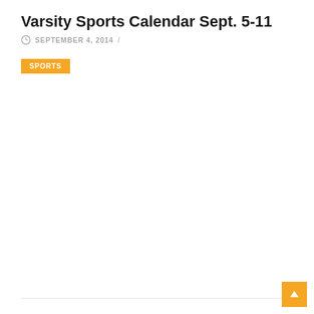Varsity Sports Calendar Sept. 5-11
SEPTEMBER 4, 2014 /
SPORTS
Marshfield girls swim team loses home opener
SEPTEMBER 5, 2014 /